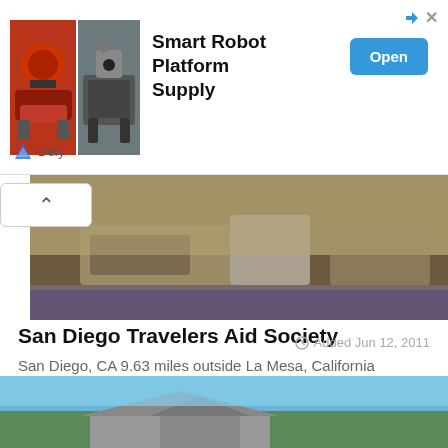[Figure (screenshot): Ad banner for Smart Robot Platform Supply with two robot images on the left, bold title text, and a blue Open button. Brand name Defy shown at bottom left of ad.]
[Figure (photo): Hero photo showing outdoor scene with equipment on ground, partly obscured by a collapse/up-arrow button on the left side.]
San Diego Travelers Aid Society
San Diego, CA 9.63 miles outside La Mesa, California
Provides information and referral to the general population, and refers qualified homeless persons to shelter if shelter is available. Travelers Aid is the only agency in San Diego County making refer [...]
See more details
Added Jun 12, 2011
[Figure (photo): Bottom strip of a photo showing a building with a roof and blue sky.]